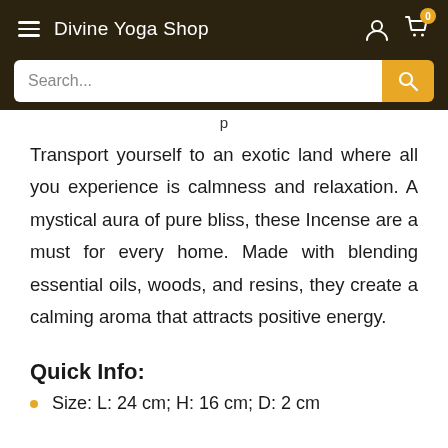Divine Yoga Shop
Transport yourself to an exotic land where all you experience is calmness and relaxation. A mystical aura of pure bliss, these Incense are a must for every home. Made with blending essential oils, woods, and resins, they create a calming aroma that attracts positive energy.
Quick Info:
Size: L: 24 cm; H: 16 cm; D: 2 cm